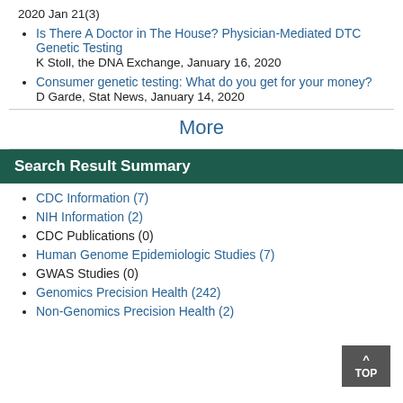2020 Jan 21(3)
Is There A Doctor in The House? Physician-Mediated DTC Genetic Testing
K Stoll, the DNA Exchange, January 16, 2020
Consumer genetic testing: What do you get for your money?
D Garde, Stat News, January 14, 2020
More
Search Result Summary
CDC Information (7)
NIH Information (2)
CDC Publications (0)
Human Genome Epidemiologic Studies (7)
GWAS Studies (0)
Genomics Precision Health (242)
Non-Genomics Precision Health (2)